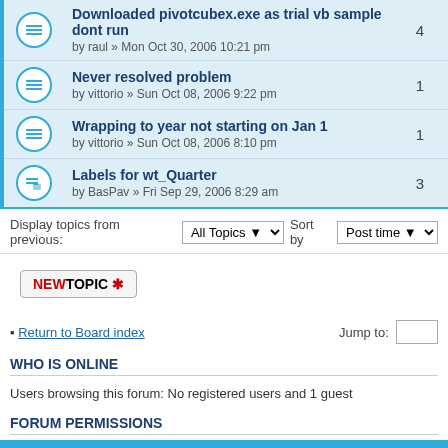Downloaded pivotcubex.exe as trial vb sample dont run by raul » Mon Oct 30, 2006 10:21 pm — replies: 4
Never resolved problem by vittorio » Sun Oct 08, 2006 9:22 pm — replies: 1
Wrapping to year not starting on Jan 1 by vittorio » Sun Oct 08, 2006 8:10 pm — replies: 1
Labels for wt_Quarter by BasPav » Fri Sep 29, 2006 8:29 am — replies: 3
Display topics from previous: All Topics Sort by Post time
NEWTOPIC ✱
Return to Board index   Jump to:
WHO IS ONLINE
Users browsing this forum: No registered users and 1 guest
FORUM PERMISSIONS
You cannot post new topics in this forum
You cannot reply to topics in this forum
You cannot edit your posts in this forum
You cannot delete your posts in this forum